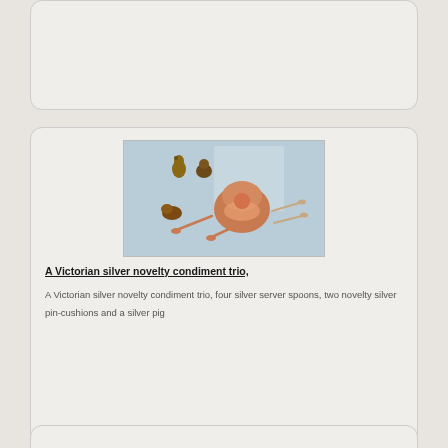[Figure (photo): Top card placeholder (partially visible at top of page)]
[Figure (photo): A Victorian silver novelty condiment trio, four silver server spoons, two novelty silver pin-cushions and a silver pig, displayed on a light blue background]
A Victorian silver novelty condiment trio,
A Victorian silver novelty condiment trio, four silver server spoons, two novelty silver pin-cushions and a silver pig
[Figure (photo): Bottom card partially visible at bottom of page]